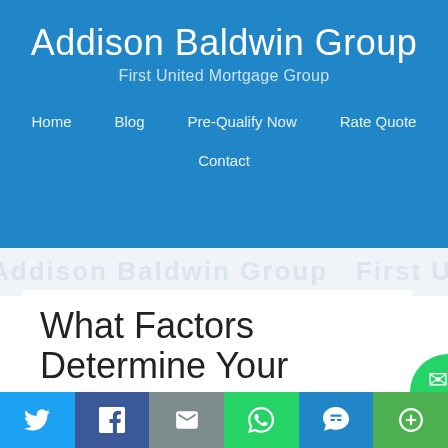Addison Baldwin Group
First United Mortgage Group
Home   Blog   Pre-Qualify Now   Rate Quote   Contact
What Factors Determine Your Home's Resale Value?
[Figure (screenshot): Social share bar with Twitter, Facebook, Email, WhatsApp, SMS, and More share buttons]